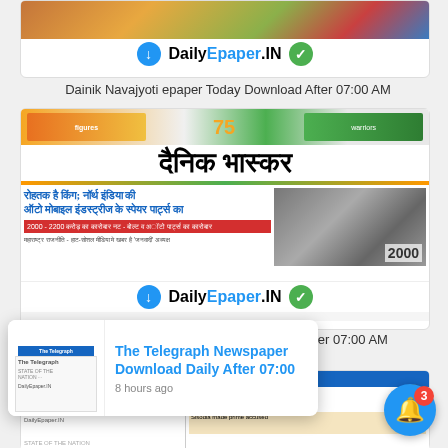[Figure (screenshot): Dainik Navajyoti epaper card with DailyEpaper.IN branding, download button (blue circle) and check button (green circle)]
Dainik Navajyoti epaper Today Download After 07:00 AM
[Figure (screenshot): Dainik Bhaskar epaper front page with Hindi masthead, headlines in Hindi, and DailyEpaper.IN logo bar at the bottom]
Dainik Bhaskar epaper Today Download After 07:00 AM
[Figure (screenshot): The Telegraph newspaper epaper partial card with English newspaper front page showing visa racket and arrested headlines]
[Figure (screenshot): Notification popup overlay: The Telegraph Newspaper Download Daily After 07:00, 8 hours ago, with thumbnail of newspaper]
[Figure (other): Blue notification bell button with red badge showing number 3]